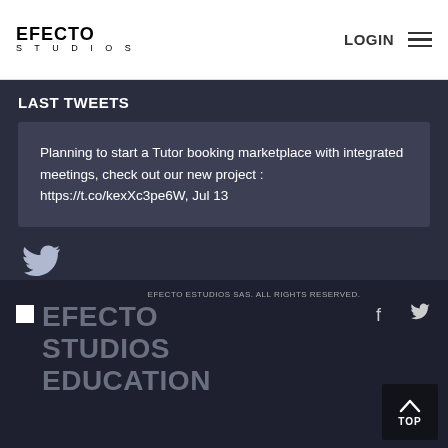EFECTO STUDIOS | LOGIN
LAST TWEETS
Planning to start a Tutor booking marketplace with integrated meetings, check out our new project : https://t.co/kexXc3pe6W, Jul 13
[Figure (logo): Twitter bird icon]
EFECTO ESTUDIOS SAS. ALL RIGHTS RESERVED. | EFECTO STUDIOS EDUCATION
[Figure (logo): Small placeholder image in footer]
[Figure (infographic): TOP back-to-top button with up arrow]